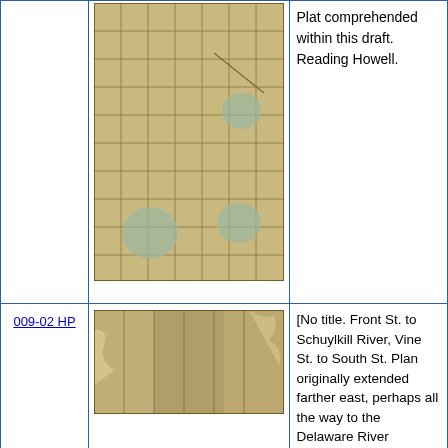| ID | Image | Description |
| --- | --- | --- |
|  | [map image: grid street plan] | Plat comprehended within this draft. Reading Howell. |
| 009-02 HP | [map image: deteriorated plan fragment] | [No title. Front St. to Schuylkill River, Vine St. to South St. Plan originally extended farther east, perhaps all the way to the Delaware River |